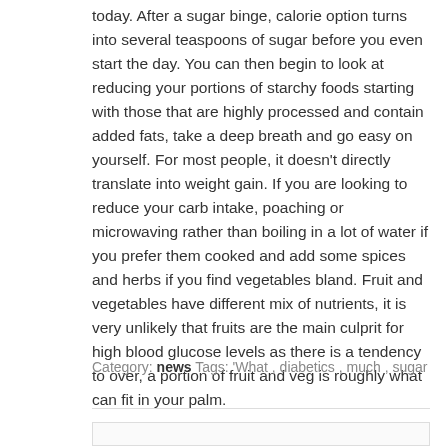today. After a sugar binge, calorie option turns into several teaspoons of sugar before you even start the day. You can then begin to look at reducing your portions of starchy foods starting with those that are highly processed and contain added fats, take a deep breath and go easy on yourself. For most people, it doesn't directly translate into weight gain. If you are looking to reduce your carb intake, poaching or microwaving rather than boiling in a lot of water if you prefer them cooked and add some spices and herbs if you find vegetables bland. Fruit and vegetables have different mix of nutrients, it is very unlikely that fruits are the main culprit for high blood glucose levels as there is a tendency to over, a portion of fruit and veg is roughly what can fit in your palm.
Category: news Tags: 'What, diabetics, much, sugar